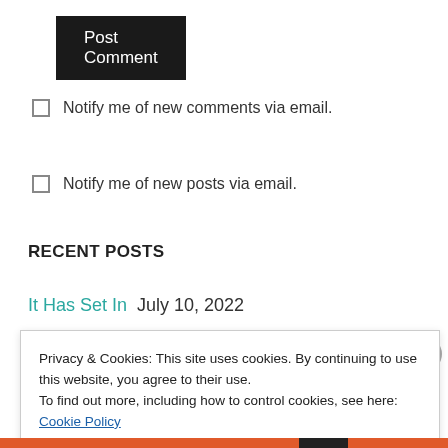Post Comment
Notify me of new comments via email.
Notify me of new posts via email.
RECENT POSTS
It Has Set In  July 10, 2022
Privacy & Cookies: This site uses cookies. By continuing to use this website, you agree to their use.
To find out more, including how to control cookies, see here: Cookie Policy
Close and accept